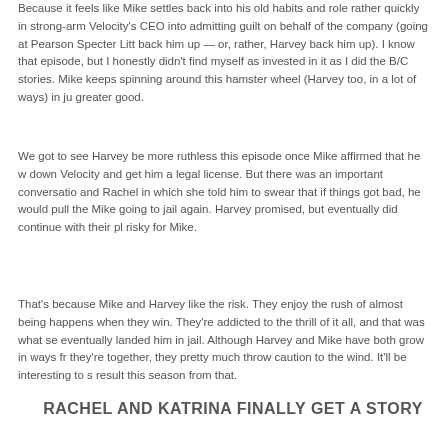Because it feels like Mike settles back into his old habits and role rather quickly in strong-arm Velocity's CEO into admitting guilt on behalf of the company (going at Pearson Specter Litt back him up — or, rather, Harvey back him up). I know that episode, but I honestly didn't find myself as invested in it as I did the B/C stories. Mike keeps spinning around this hamster wheel (Harvey too, in a lot of ways) in ju greater good.
We got to see Harvey be more ruthless this episode once Mike affirmed that he w down Velocity and get him a legal license. But there was an important conversatio and Rachel in which she told him to swear that if things got bad, he would pull the Mike going to jail again. Harvey promised, but eventually did continue with their pl risky for Mike.
That's because Mike and Harvey like the risk. They enjoy the rush of almost being happens when they win. They're addicted to the thrill of it all, and that was what se eventually landed him in jail. Although Harvey and Mike have both grow in ways fr they're together, they pretty much throw caution to the wind. It'll be interesting to s result this season from that.
RACHEL AND KATRINA FINALLY GET A STORY